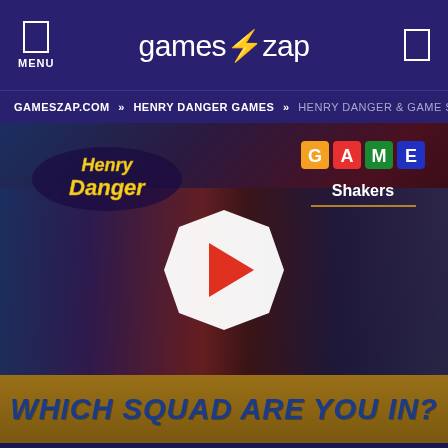games⚡zap — MENU
GAMESZAP.COM » HENRY DANGER GAMES » HENRY DANGER & GAME SH
[Figure (screenshot): Video thumbnail showing cast of Henry Danger and Game Shakers TV shows with logos, play button overlay in center, and gold banner reading 'WHICH SQUAD ARE YOU IN?']